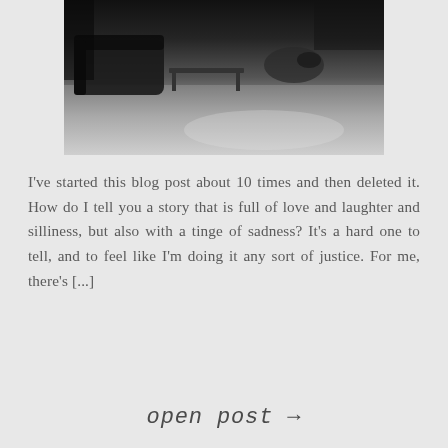[Figure (photo): Black and white photograph of a living room scene, showing a couch/chair and a low table, shot from above or at an angle, with strong contrast between dark upper area and lighter floor]
I've started this blog post about 10 times and then deleted it. How do I tell you a story that is full of love and laughter and silliness, but also with a tinge of sadness? It's a hard one to tell, and to feel like I'm doing it any sort of justice. For me, there's [...]
open post →